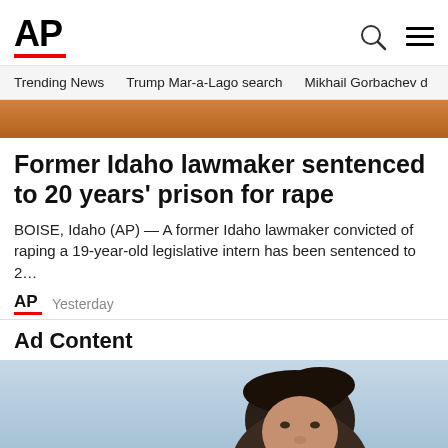AP
Trending News   Trump Mar-a-Lago search   Mikhail Gorbachev d
[Figure (photo): Top portion of a news article image showing orange fabric or clothing]
Former Idaho lawmaker sentenced to 20 years' prison for rape
BOISE, Idaho (AP) — A former Idaho lawmaker convicted of raping a 19-year-old legislative intern has been sentenced to 2…
AP  Yesterday
Ad Content
[Figure (photo): Advertisement image showing a man's face and upper body against a light blue/grey sky background, with an accessibility icon button in the lower left]